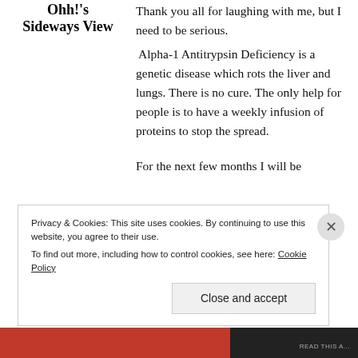Ohh!'s Sideways View
Thank you all for laughing with me, but I need to be serious. Alpha-1 Antitrypsin Deficiency is a genetic disease which rots the liver and lungs. There is no cure. The only help for people is to have a weekly infusion of proteins to stop the spread.
For the next few months I will be
Privacy & Cookies: This site uses cookies. By continuing to use this website, you agree to their use.
To find out more, including how to control cookies, see here: Cookie Policy
Close and accept